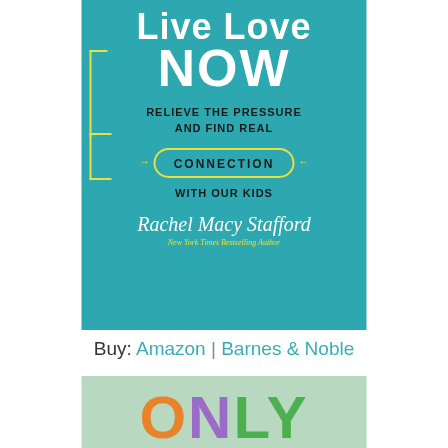[Figure (illustration): Book cover of 'Live Love Now' by Rachel Macy Stafford. Teal/turquoise background with large white hand-lettered title text 'LIVE LOVE NOW'. Subtitle reads 'Relieve the Pressure and Find Real CONNECTION with Our Kids'. 'CONNECTION' is enclosed in a yellow oval/rounded rectangle. Author name 'Rachel Macy Stafford' in white script at bottom, with 'New York Times Bestselling Author' in yellow italic text below.]
Buy: Amazon | Barnes & Noble
[Figure (illustration): Partial view of another book cover with colorful letters 'ONLY' visible at the bottom of the page, on a light green background. Letters are in orange, purple, and green.]